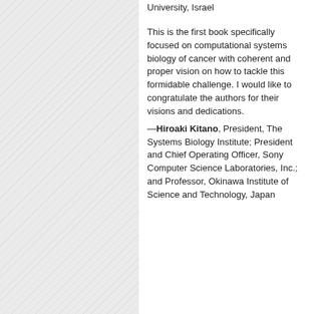University, Israel
This is the first book specifically focused on computational systems biology of cancer with coherent and proper vision on how to tackle this formidable challenge. I would like to congratulate the authors for their visions and dedications.
—Hiroaki Kitano, President, The Systems Biology Institute; President and Chief Operating Officer, Sony Computer Science Laboratories, Inc.; and Professor, Okinawa Institute of Science and Technology, Japan